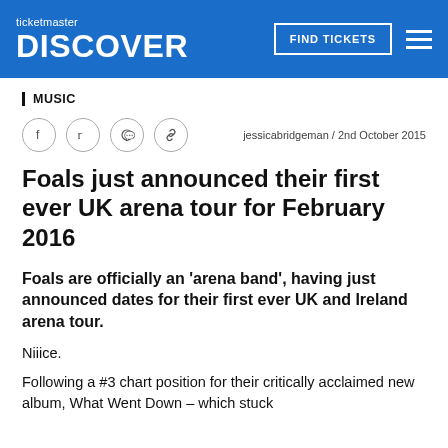ticketmaster DISCOVER | FIND TICKETS
MUSIC
jessicabridgeman / 2nd October 2015
Foals just announced their first ever UK arena tour for February 2016
Foals are officially an ‘arena band’, having just announced dates for their first ever UK and Ireland arena tour.
Niiice.
Following a #3 chart position for their critically acclaimed new album, What Went Down – which stuck